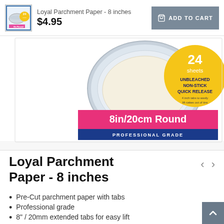Loyal Parchment Paper - 8 inches | $4.95 | ADD TO CART
[Figure (photo): Product image of Loyal Parchment Paper 8in/20cm Round package showing a round cake tin with parchment paper inside, yellow circle with '24 sheets UNBLEACHED NON-STICK QUICK RELEASE', pink band '8in/20cm Round', blue band 'PROFESSIONAL GRADE']
Loyal Parchment Paper - 8 inches
Pre-Cut parchment paper with tabs
Professional grade
8" / 20mm extended tabs for easy lift